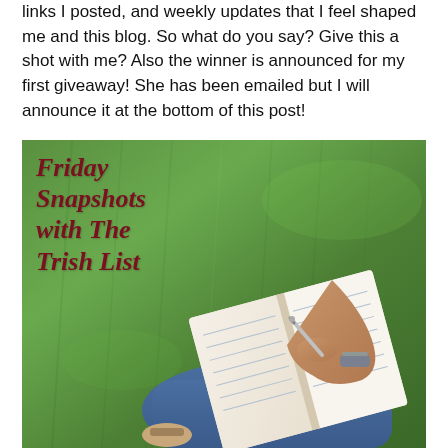links I posted, and weekly updates that I feel shaped me and this blog. So what do you say? Give this a shot with me? Also the winner is announced for my first giveaway! She has been emailed but I will announce it at the bottom of this post!
[Figure (photo): A photo of a person sitting on grass writing in a notebook/journal with a pen, wearing jeans and sandals. Text overlay reads 'Friday Snapshots with The Trish List' in dark red italic script font.]